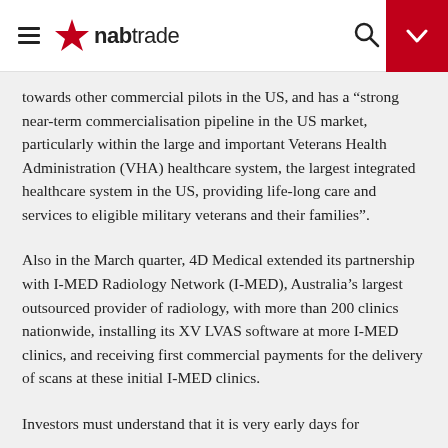nabtrade
towards other commercial pilots in the US, and has a “strong near-term commercialisation pipeline in the US market, particularly within the large and important Veterans Health Administration (VHA) healthcare system, the largest integrated healthcare system in the US, providing life-long care and services to eligible military veterans and their families”.
Also in the March quarter, 4D Medical extended its partnership with I-MED Radiology Network (I-MED), Australia’s largest outsourced provider of radiology, with more than 200 clinics nationwide, installing its XV LVAS software at more I-MED clinics, and receiving first commercial payments for the delivery of scans at these initial I-MED clinics.
Investors must understand that it is very early days for